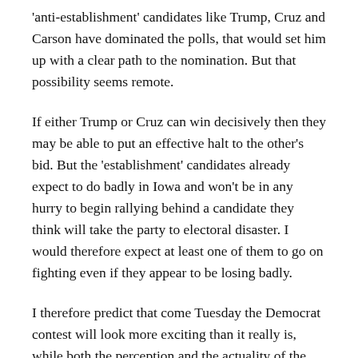'anti-establishment' candidates like Trump, Cruz and Carson have dominated the polls, that would set him up with a clear path to the nomination. But that possibility seems remote.
If either Trump or Cruz can win decisively then they may be able to put an effective halt to the other's bid. But the 'establishment' candidates already expect to do badly in Iowa and won't be in any hurry to begin rallying behind a candidate they think will take the party to electoral disaster. I would therefore expect at least one of them to go on fighting even if they appear to be losing badly.
I therefore predict that come Tuesday the Democrat contest will look more exciting than it really is, while both the perception and the actuality of the